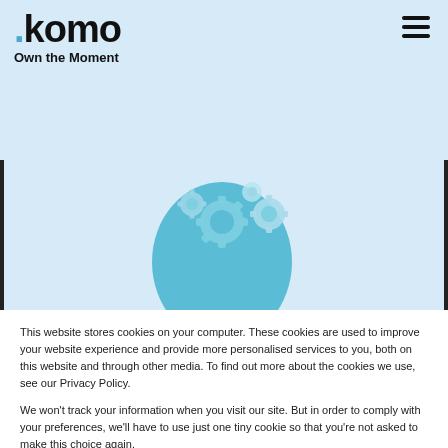Komo — Own the Moment
[Figure (illustration): A teal silhouette of a human head profile with gear/cog shapes inside the head, representing the mind and thinking, on a light blue background.]
This website stores cookies on your computer. These cookies are used to improve your website experience and provide more personalised services to you, both on this website and through other media. To find out more about the cookies we use, see our Privacy Policy.
We won't track your information when you visit our site. But in order to comply with your preferences, we'll have to use just one tiny cookie so that you're not asked to make this choice again.